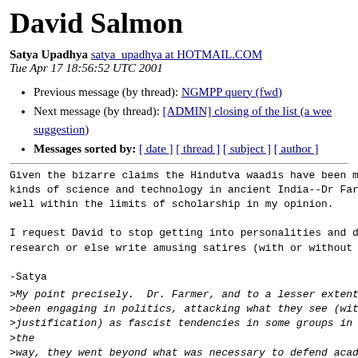David Salmon
Satya Upadhya satya_upadhya at HOTMAIL.COM
Tue Apr 17 18:56:52 UTC 2001
Previous message (by thread): NGMPP query (fwd)
Next message (by thread): [ADMIN] closing of the list (a wee suggestion)
Messages sorted by: [ date ] [ thread ] [ subject ] [ author ]
Given the bizarre claims the Hindutva waadis have been ma-
kinds of science and technology in ancient India--Dr Farr-
well within the limits of scholarship in my opinion.

I request David to stop getting into personalities and do-
research or else write amusing satires (with or without V-

-Satya
>My point precisely.  Dr. Farmer, and to a lesser extent,
>been engaging in politics, attacking what they see (with-
>justification) as fascist tendencies in some groups in I-
>the
>way, they went beyond what was necessary to defend acade-